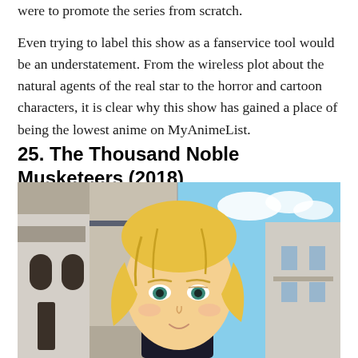were to promote the series from scratch.
Even trying to label this show as a fanservice tool would be an understatement. From the wireless plot about the natural agents of the real star to the horror and cartoon characters, it is clear why this show has gained a place of being the lowest anime on MyAnimeList.
25. The Thousand Noble Musketeers (2018)
[Figure (photo): Anime screenshot from The Thousand Noble Musketeers (2018) showing a blonde anime character in the foreground with a European-style street/building scene in the background split into two panels.]